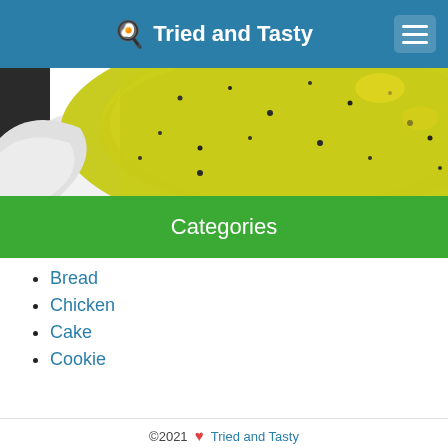🍳 Tried and Tasty
[Figure (photo): Close-up photo of a bowl of yellowish-green soup with black pepper specks, on a white plate against a dark background]
Categories
Bread
Chicken
Cake
Cookie
©2021 ❤ Tried and Tasty